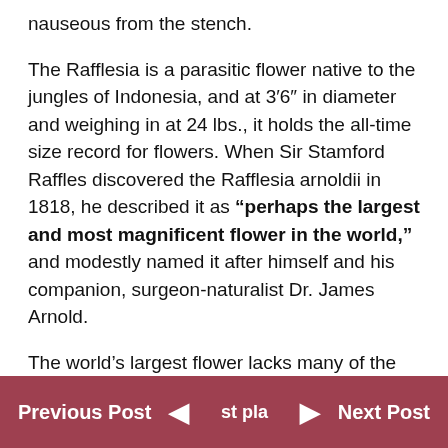nauseous from the stench.
The Rafflesia is a parasitic flower native to the jungles of Indonesia, and at 3′6″ in diameter and weighing in at 24 lbs., it holds the all-time size record for flowers. When Sir Stamford Raffles discovered the Rafflesia arnoldii in 1818, he described it as "perhaps the largest and most magnificent flower in the world," and modestly named it after himself and his companion, surgeon-naturalist Dr. James Arnold.
The world's largest flower lacks many of the traditional markers of what makes a flower: namely leaves, stems, and roots. The huge, five-petaled
Previous Post   ◄   st pla ►   Next Post